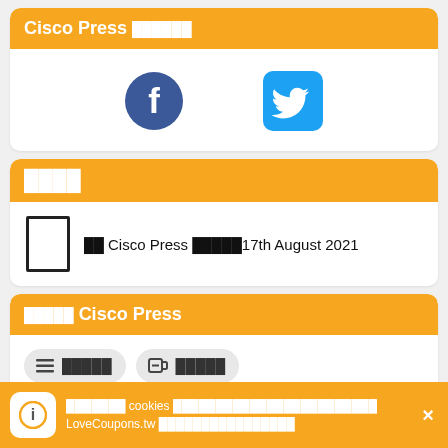Cisco Press
[Figure (logo): Facebook and Twitter social media icons]
Cisco Press 17th August 2021
Cisco Press
cookies  LoveCoupons.tw